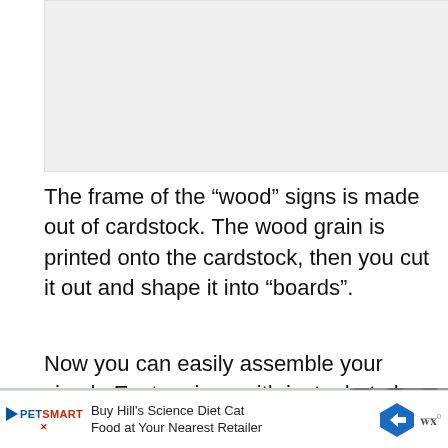[Figure (photo): Top image area showing craft/sign content (partially visible, cropped at top of page)]
The frame of the “wood” signs is made out of cardstock. The wood grain is printed onto the cardstock, then you cut it out and shape it into “boards”.
Now you can easily assemble your simple Easter signs with just a hot glue gun! And they look just like their wood counterpart.
[Figure (photo): Bottom portion of photo showing green plant leaves and wooden/dark vertical elements on the right side]
[Figure (other): Advertisement bar: PetSmart ad - Buy Hill's Science Diet Cat Food at Your Nearest Retailer, with navigation arrow icon and WR logo]